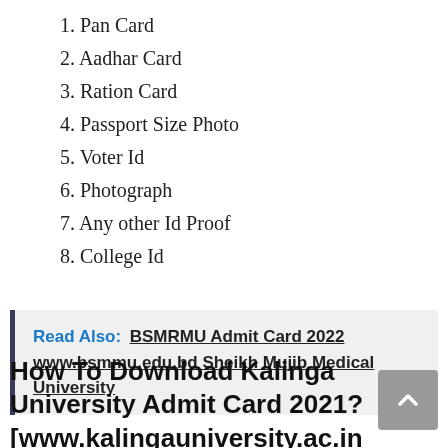1. Pan Card
2. Aadhar Card
3. Ration Card
4. Passport Size Photo
5. Voter Id
6. Photograph
7. Any other Id Proof
8. College Id
Read Also: BSMRMU Admit Card 2022 www.bsmmu.edu.bd Sheikh Mujib Medical University
How To Download Kalinga University Admit Card 2021? [www.kalingauniversity.ac.in login]